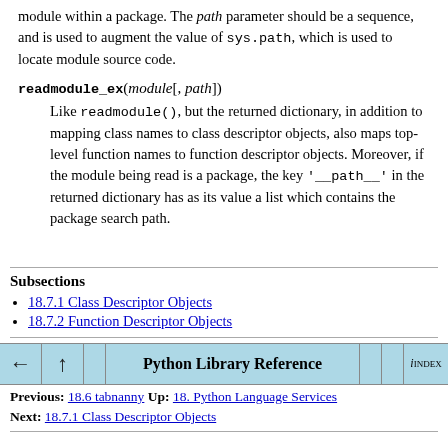module within a package. The path parameter should be a sequence, and is used to augment the value of sys.path, which is used to locate module source code.
readmodule_ex(module[, path])
Like readmodule(), but the returned dictionary, in addition to mapping class names to class descriptor objects, also maps top-level function names to function descriptor objects. Moreover, if the module being read is a package, the key '__path__' in the returned dictionary has as its value a list which contains the package search path.
Subsections
18.7.1 Class Descriptor Objects
18.7.2 Function Descriptor Objects
Previous: 18.6 tabnanny Up: 18. Python Language Services Next: 18.7.1 Class Descriptor Objects